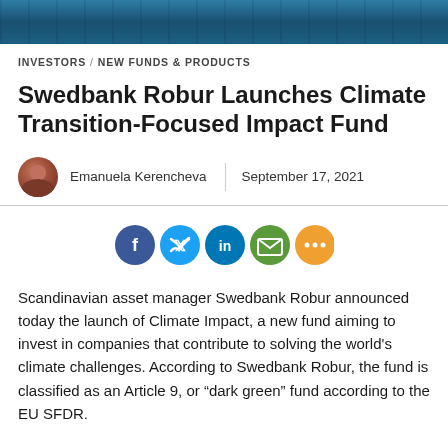[Figure (photo): Top banner image showing a building facade with blue architectural elements and vertical lines]
INVESTORS / NEW FUNDS & PRODUCTS
Swedbank Robur Launches Climate Transition-Focused Impact Fund
Emanuela Kerencheva  |  September 17, 2021
[Figure (infographic): Social sharing icons: Facebook (dark blue), Twitter (light blue), LinkedIn (blue), Email (green), More (orange)]
Scandinavian asset manager Swedbank Robur announced today the launch of Climate Impact, a new fund aiming to invest in companies that contribute to solving the world’s climate challenges. According to Swedbank Robur, the fund is classified as an Article 9, or “dark green” fund according to the EU SFDR.